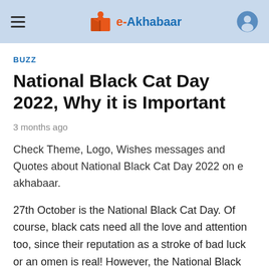e-Akhabaar
BUZZ
National Black Cat Day 2022, Why it is Important
3 months ago
Check Theme, Logo, Wishes messages and Quotes about National Black Cat Day 2022 on e akhabaar.
27th October is the National Black Cat Day. Of course, black cats need all the love and attention too, since their reputation as a stroke of bad luck or an omen is real! However, the National Black Cat Day gives us a chance to show off the feline fans that